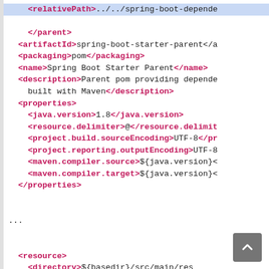XML/Maven pom.xml code snippet showing relativePath, parent, artifactId, packaging, name, description, properties, resource elements